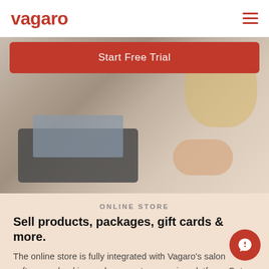vagaro
[Figure (photo): Woman using a laptop, photographed from behind/side, with blond hair, pink top, on a light background. A red 'Start Free Trial' CTA button overlays the top of the image.]
ONLINE STORE
Sell products, packages, gift cards & more.
The online store is fully integrated with Vagaro's salon software— booking and payment processing platform. Get everything you need to market your store, pro payments and ship products.